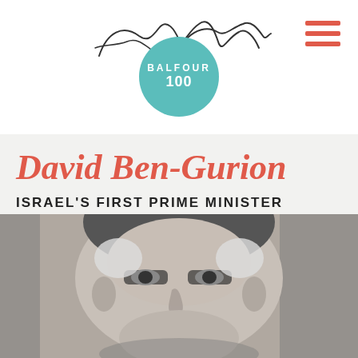[Figure (logo): Balfour 100 logo with cursive signature above a teal circle containing BALFOUR 100 text]
[Figure (illustration): Hamburger menu icon with three horizontal red/salmon lines]
David Ben-Gurion
ISRAEL'S FIRST PRIME MINISTER
[Figure (photo): Black and white close-up portrait photograph of David Ben-Gurion]